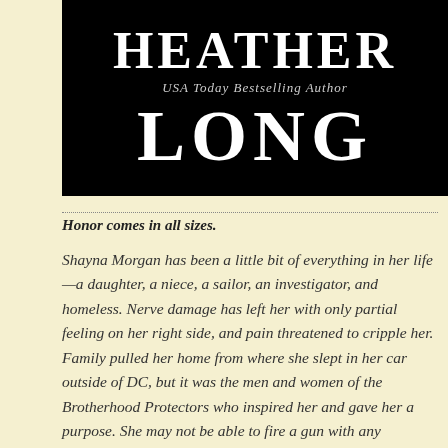[Figure (illustration): Black banner with author name 'HEATHER LONG' in large white serif font, with 'USA Today Bestselling Author' in smaller italic text between the first and last name.]
Honor comes in all sizes.
Shayna Morgan has been a little bit of everything in her life—a daughter, a niece, a sailor, an investigator, and homeless. Nerve damage has left her with only partial feeling on her right side, and pain threatened to cripple her. Family pulled her home from where she slept in her car outside of DC, but it was the men and women of the Brotherhood Protectors who inspired her and gave her a purpose. She may not be able to fire a gun with any accuracy,